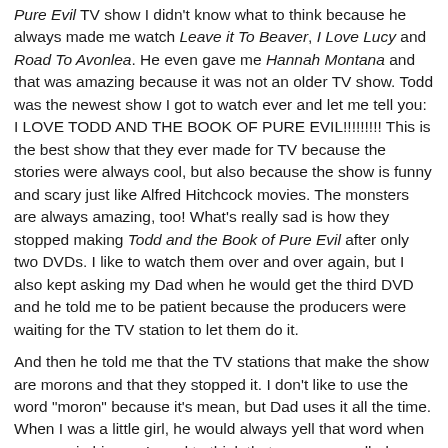Pure Evil TV show I didn't know what to think because he always made me watch Leave it To Beaver, I Love Lucy and Road To Avonlea. He even gave me Hannah Montana and that was amazing because it was not an older TV show. Todd was the newest show I got to watch ever and let me tell you: I LOVE TODD AND THE BOOK OF PURE EVIL!!!!!!!!! This is the best show that they ever made for TV because the stories were always cool, but also because the show is funny and scary just like Alfred Hitchcock movies. The monsters are always amazing, too! What's really sad is how they stopped making Todd and the Book of Pure Evil after only two DVDs. I like to watch them over and over again, but I also kept asking my Dad when he would get the third DVD and he told me to be patient because the producers were waiting for the TV station to let them do it.
And then he told me that the TV stations that make the show are morons and that they stopped it. I don't like to use the word "moron" because it's mean, but Dad uses it all the time. When I was a little girl, he would always yell that word when we were in his car. I used to think that cars were called morons instead of "cars". Dad had to explain that the word